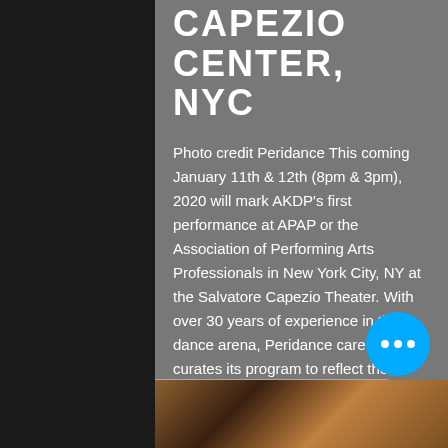CAPEZIO CENTER, NYC
Photo credit Peridance This coming January 11th & 12th (8pm & 3pm), 2020 will mark AKDP's first performance at APAP or the Association of Performing Arts Professionals in New York City, NY at the Salvatore Capezio Theater. With over 30 years of experience in the dance arena, Peridance carefully curates its program to reflect the artistic excellence; creativity, diversity and audience appeal presenters are looking for. To read the full press release, click the link here. To ge
[Figure (photo): A dark brown photo strip at the bottom showing what appears to be a wooden surface or stage with light streaks]